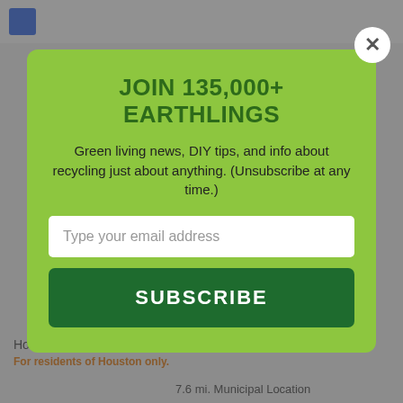[Figure (screenshot): Background web page showing a location listing for Houston, TX 77057 with text 'For residents of Houston only.' and '7.6 mi. Municipal Location']
JOIN 135,000+ EARTHLINGS
Green living news, DIY tips, and info about recycling just about anything. (Unsubscribe at any time.)
Type your email address
SUBSCRIBE